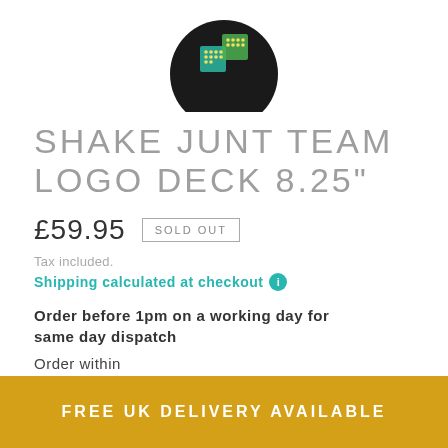[Figure (logo): Shake Junt brand logo — circular black badge with green and teal graphic on white background, partially cropped at top]
SHAKE JUNT TEAM LOGO DECK 8.25"
£59.95  SOLD OUT
Tax included.
Shipping calculated at checkout ℹ
Order before 1pm on a working day for same day dispatch
Order within
FREE UK DELIVERY AVAILABLE